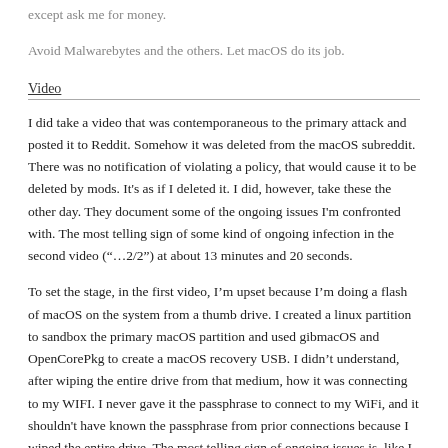except ask me for money.
Avoid Malwarebytes and the others. Let macOS do its job.
Video
I did take a video that was contemporaneous to the primary attack and posted it to Reddit. Somehow it was deleted from the macOS subreddit. There was no notification of violating a policy, that would cause it to be deleted by mods. It's as if I deleted it. I did, however, take these the other day. They document some of the ongoing issues I'm confronted with. The most telling sign of some kind of ongoing infection in the second video (“…2/2”) at about 13 minutes and 20 seconds.
To set the stage, in the first video, I’m upset because I’m doing a flash of macOS on the system from a thumb drive. I created a linux partition to sandbox the primary macOS partition and used gibmacOS and OpenCorePkg to create a macOS recovery USB. I didn’t understand, after wiping the entire drive from that medium, how it was connecting to my WIFI. I never gave it the passphrase to connect to my WiFi, and it shouldn't have known the passphrase from prior connections because I wiped the entire drive. The most telling sign of ongoing issues is, like I